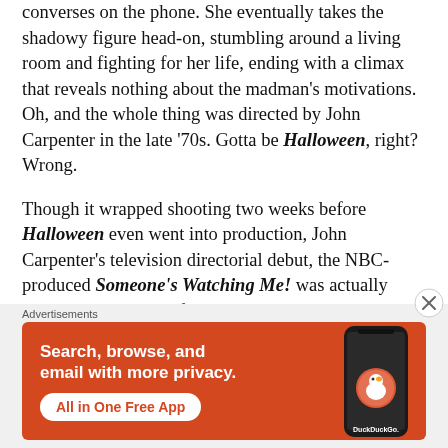converses on the phone. She eventually takes the shadowy figure head-on, stumbling around a living room and fighting for her life, ending with a climax that reveals nothing about the madman's motivations. Oh, and the whole thing was directed by John Carpenter in the late '70s. Gotta be Halloween, right? Wrong.
Though it wrapped shooting two weeks before Halloween even went into production, John Carpenter's television directorial debut, the NBC-produced Someone's Watching Me! was actually released one month after Halloween. Due to this loopy timeline it's easy to think Halloween informed many stylistic choices of Someone's Watching Me! when in
Advertisements
[Figure (other): DuckDuckGo advertisement banner with orange background showing 'Search, browse, and email with more privacy. All in One Free App' text and a smartphone image with DuckDuckGo logo]